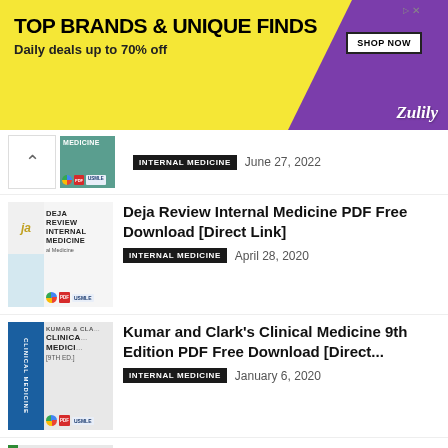[Figure (other): Advertisement banner: TOP BRANDS & UNIQUE FINDS - Daily deals up to 70% off - Zulily - SHOP NOW button]
[Figure (other): Partial book entry with teal cover showing partial title, INTERNAL MEDICINE tag, June 27, 2022]
Deja Review Internal Medicine PDF Free Download [Direct Link]
INTERNAL MEDICINE   April 28, 2020
Kumar and Clark's Clinical Medicine 9th Edition PDF Free Download [Direct...
INTERNAL MEDICINE   January 6, 2020
Oxford Handbook of Clinical Medicine 10th Edition PDF Free Download [Direct...
INTERNAL MEDICINE